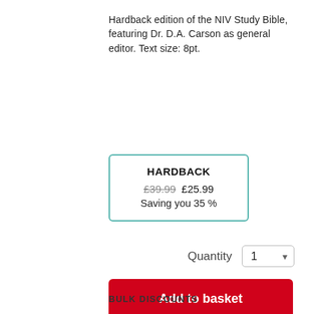Hardback edition of the NIV Study Bible, featuring Dr. D.A. Carson as general editor. Text size: 8pt.
HARDBACK
£39.99 £25.99
Saving you 35 %
Quantity  1
Add to basket
BULK DISCOUNTS